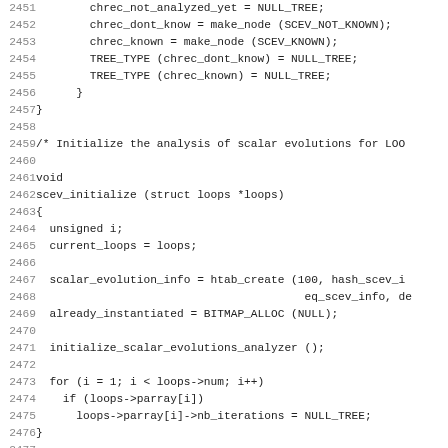[Figure (other): Source code listing in C showing lines 2451-2482 of a scalar evolution analysis implementation, including function scev_initialize and scev_reset]